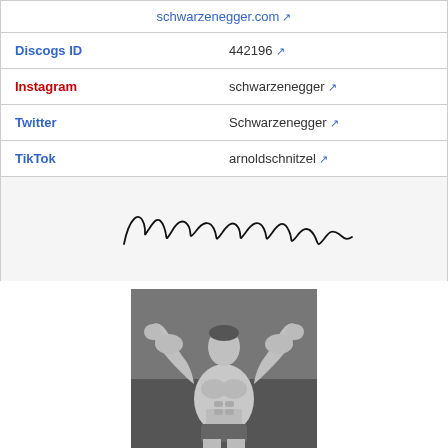| schwarzenegger.com ↗ |  |
| Discogs ID | 442196 ↗ |
| Instagram | schwarzenegger ↗ |
| Twitter | Schwarzenegger ↗ |
| TikTok | arnoldschnitzel ↗ |
[Figure (illustration): Arnold Schwarzenegger's cursive signature in black ink on a light grey background]
[Figure (photo): Black and white photo of young Arnold Schwarzenegger in bodybuilding pose, flexing both arms raised, wearing competition briefs, full body shot]